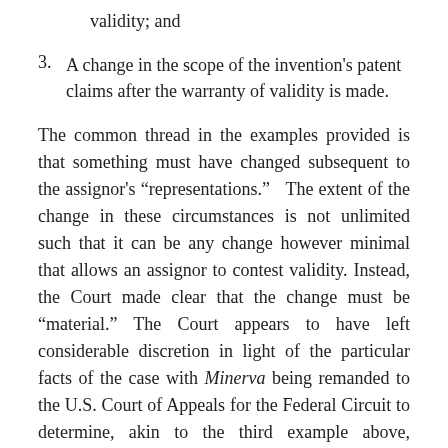validity; and
3. A change in the scope of the invention's patent claims after the warranty of validity is made.
The common thread in the examples provided is that something must have changed subsequent to the assignor's “representations.”  The extent of the change in these circumstances is not unlimited such that it can be any change however minimal that allows an assignor to contest validity. Instead, the Court made clear that the change must be “material.” The Court appears to have left considerable discretion in light of the particular facts of the case with Minerva being remanded to the U.S. Court of Appeals for the Federal Circuit to determine, akin to the third example above, “whether Hologic’s new claim is materially broader” than the claims that were assigned. Although not addressed by the Court, it is